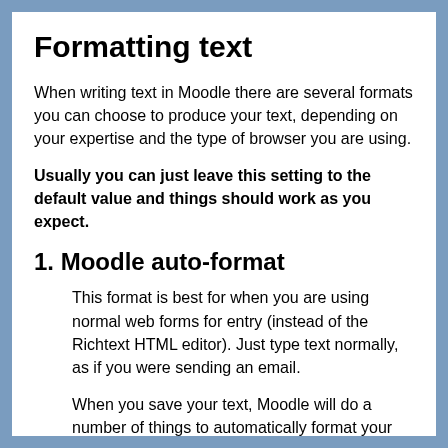Formatting text
When writing text in Moodle there are several formats you can choose to produce your text, depending on your expertise and the type of browser you are using.
Usually you can just leave this setting to the default value and things should work as you expect.
1. Moodle auto-format
This format is best for when you are using normal web forms for entry (instead of the Richtext HTML editor). Just type text normally, as if you were sending an email.
When you save your text, Moodle will do a number of things to automatically format your text for you.
For example, URLs such as
http://yahoo.com or even www.yahoo.com will be